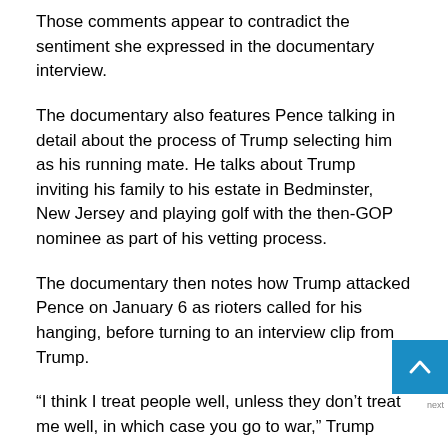Those comments appear to contradict the sentiment she expressed in the documentary interview.
The documentary also features Pence talking in detail about the process of Trump selecting him as his running mate. He talks about Trump inviting his family to his estate in Bedminster, New Jersey and playing golf with the then-GOP nominee as part of his vetting process.
The documentary then notes how Trump attacked Pence on January 6 as rioters called for his hanging, before turning to an interview clip from Trump.
“I think I treat people well, unless they don’t treat me well, in which case you go to war,” Trump says.
UPDATE: This story and headline have been updated to reflect that a spokesman for former Vice President Mike Pence...